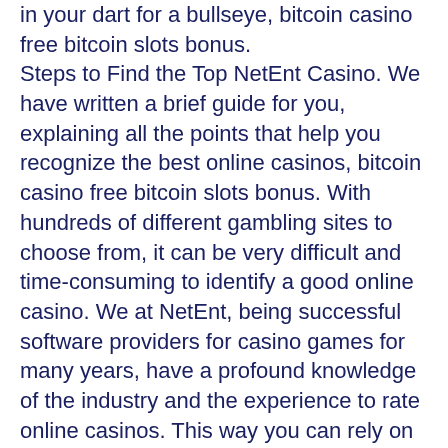in your dart for a bullseye, bitcoin casino free bitcoin slots bonus.
Steps to Find the Top NetEnt Casino. We have written a brief guide for you, explaining all the points that help you recognize the best online casinos, bitcoin casino free bitcoin slots bonus. With hundreds of different gambling sites to choose from, it can be very difficult and time-consuming to identify a good online casino. We at NetEnt, being successful software providers for casino games for many years, have a profound knowledge of the industry and the experience to rate online casinos. This way you can rely on us to help you find the best operator.
How to earn money in casino
As part of this promotion, leaderboards are updated every ten minutes, and daily